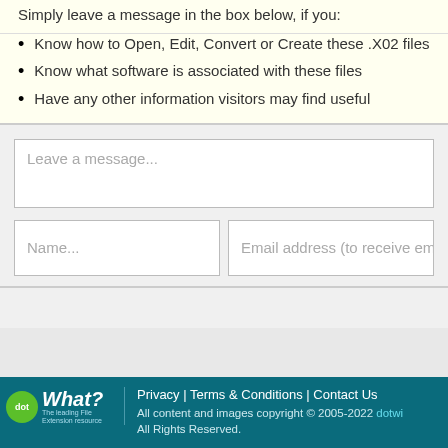Simply leave a message in the box below, if you:
Know how to Open, Edit, Convert or Create these .X02 files
Know what software is associated with these files
Have any other information visitors may find useful
Leave a message...
Name...
Email address (to receive em...
Privacy | Terms & Conditions | Contact Us
All content and images copyright © 2005-2022 dotw...
All Rights Reserved.